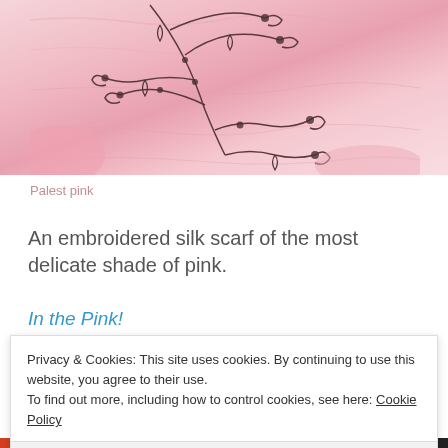[Figure (photo): Close-up photograph of a pale pink embroidered silk scarf with dark thread embroidery featuring branch/vine patterns and small circular sequins or beads on a crinkled pale pink fabric background.]
Palest pink
An embroidered silk scarf of the most delicate shade of pink.
In the Pink!
Privacy & Cookies: This site uses cookies. By continuing to use this website, you agree to their use.
To find out more, including how to control cookies, see here: Cookie Policy
Close and accept